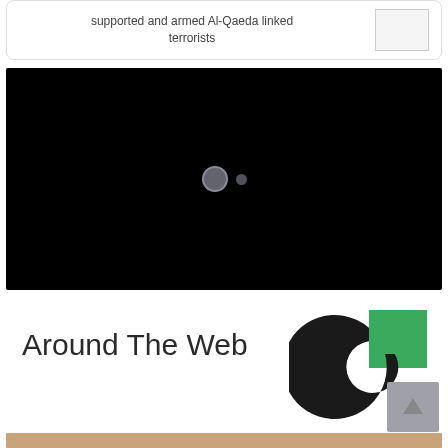supported and armed Al-Qaeda linked terrorists
[Figure (screenshot): Black video player with loading spinner dots in the center]
Around The Web
[Figure (logo): Taboola logo - black donut/C shape with green square accent and gray square]
[Figure (photo): Partial photo visible at bottom of page]